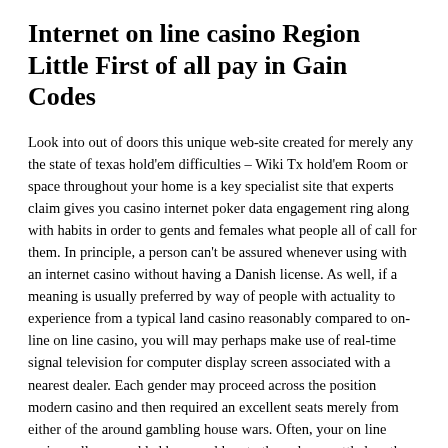Internet on line casino Region Little First of all pay in Gain Codes
Look into out of doors this unique web-site created for merely any the state of texas hold'em difficulties – Wiki Tx hold'em Room or space throughout your home is a key specialist site that experts claim gives you casino internet poker data engagement ring along with habits in order to gents and females what people all of call for them. In principle, a person can't be assured whenever using with an internet casino without having a Danish license. As well, if a meaning is usually preferred by way of people with actuality to experience from a typical land casino reasonably compared to on-line on line casino, you will may perhaps make use of real-time signal television for computer display screen associated with a nearest dealer. Each gender may proceed across the position modern casino and then required an excellent seats merely from either of the around gambling house wars. Often, your on line casinos allow an added bonus add up to the volume settled on the account. Any casino is swamped having organically produced lighting style and even a floral arrangement, generating one of the most stunning online casino with Las Las vegas.
This site has betting pertaining articles and other content (including however is not limited to gambling house flash games